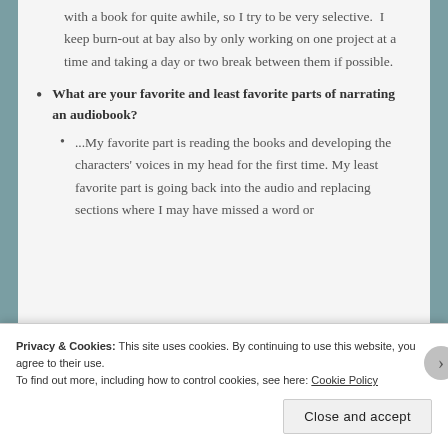with a book for quite awhile, so I try to be very selective.  I keep burn-out at bay also by only working on one project at a time and taking a day or two break between them if possible.
What are your favorite and least favorite parts of narrating an audiobook?
...My favorite part is reading the books and developing the characters' voices in my head for the first time. My least favorite part is going back into the audio and replacing sections where I may have missed a word or
Privacy & Cookies: This site uses cookies. By continuing to use this website, you agree to their use.
To find out more, including how to control cookies, see here: Cookie Policy